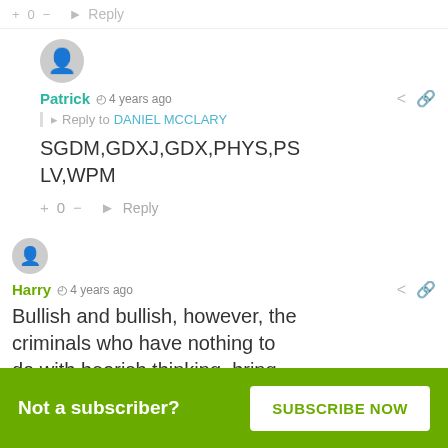+ 0 — Reply
Patrick  4 years ago
Reply to DANIEL MCCLARY
SGDM,GDXJ,GDX,PHYS,PSLV,WPM
+ 0 — Reply
Harry  4 years ago
Bullish and bullish, however, the criminals who have nothing to do with bearish thinking, bring
Not a subscriber?  SUBSCRIBE NOW